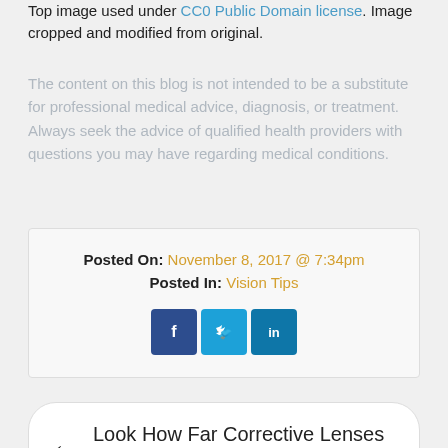Top image used under CC0 Public Domain license. Image cropped and modified from original.
The content on this blog is not intended to be a substitute for professional medical advice, diagnosis, or treatment. Always seek the advice of qualified health providers with questions you may have regarding medical conditions.
Posted On: November 8, 2017 @ 7:34pm
Posted In: Vision Tips
[Figure (other): Social media share buttons: Facebook, Twitter, LinkedIn]
← Look How Far Corrective Lenses Have Come!